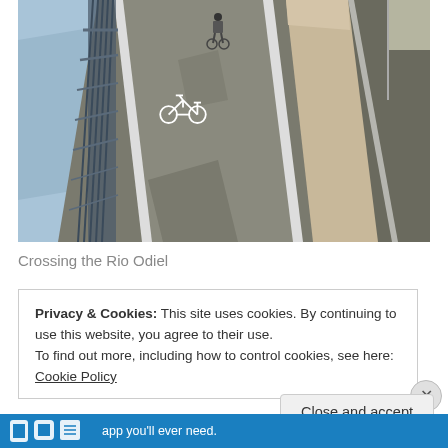[Figure (photo): A bicycle lane on a bridge crossing the Rio Odiel, with a cyclist visible in the distance. Blue metal railing on the left, concrete barrier on the right, water visible on the left side, road lanes on the right.]
Crossing the Rio Odiel
Privacy & Cookies: This site uses cookies. By continuing to use this website, you agree to their use.
To find out more, including how to control cookies, see here: Cookie Policy
Close and accept